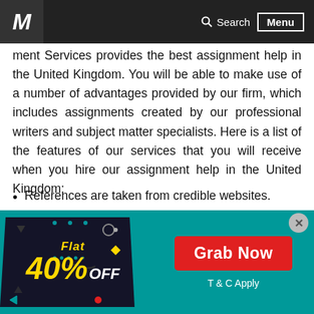Search  Menu
ment Services provides the best assignment help in the United Kingdom. You will be able to make use of a number of advantages provided by our firm, which includes assignments created by our professional writers and subject matter specialists. Here is a list of the features of our services that you will receive when you hire our assignment help in the United Kingdom:
References are taken from credible websites.
Exceptional paragraphing and cohesive building of ideas
Highly Qualified subject matter experts.
No scope of plagiarism.
[Figure (infographic): Promotional ad banner with teal background showing Flat 40% OFF discount badge on dark background and a red Grab Now button with T & C Apply text]